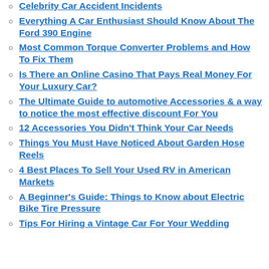Celebrity Car Accident Incidents
Everything A Car Enthusiast Should Know About The Ford 390 Engine
Most Common Torque Converter Problems and How To Fix Them
Is There an Online Casino That Pays Real Money For Your Luxury Car?
The Ultimate Guide to automotive Accessories & a way to notice the most effective discount For You
12 Accessories You Didn't Think Your Car Needs
Things You Must Have Noticed About Garden Hose Reels
4 Best Places To Sell Your Used RV in American Markets
A Beginner's Guide: Things to Know about Electric Bike Tire Pressure
Tips For Hiring a Vintage Car For Your Wedding